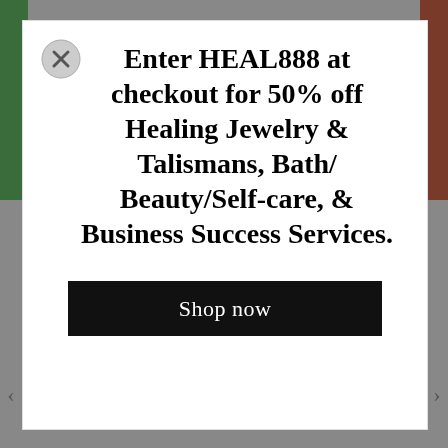[Figure (screenshot): Website popup/modal overlay with a close button (X circle) at top-left, promotional text, and a black Shop now button. Side image strips visible at left and right edges.]
Enter HEAL888 at checkout for 50% off Healing Jewelry & Talismans, Bath/ Beauty/Self-care, & Business Success Services.
Shop now